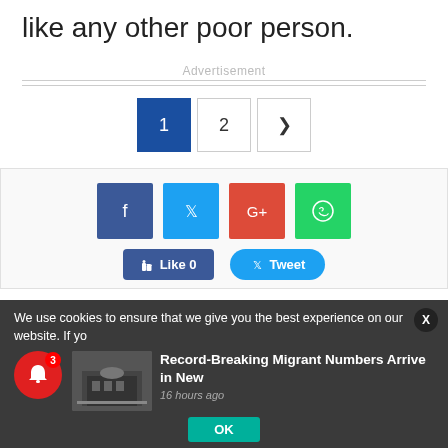like any other poor person.
Advertisement
[Figure (screenshot): Pagination controls showing page 1 (active, blue), page 2, and next arrow button]
[Figure (infographic): Social share box with Facebook, Twitter, Google+, WhatsApp icons and Like/Tweet buttons]
We use cookies to ensure that we give you the best experience on our website. If yo
[Figure (photo): News card thumbnail showing a building]
Record-Breaking Migrant Numbers Arrive in New
16 hours ago
OK